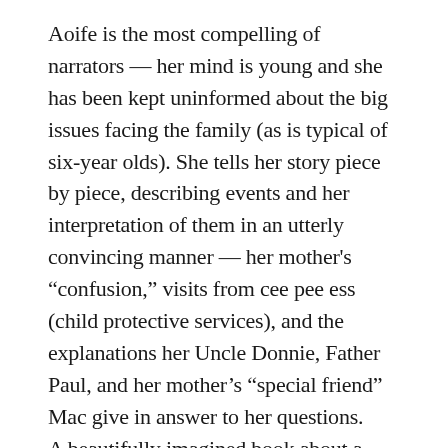Aoife is the most compelling of narrators — her mind is young and she has been kept uninformed about the big issues facing the family (as is typical of six-year olds). She tells her story piece by piece, describing events and her interpretation of them in an utterly convincing manner — her mother's “confusion,” visits from cee pee ess (child protective services), and the explanations her Uncle Donnie, Father Paul, and her mother’s “special friend” Mac give in answer to her questions.
A beautifully imagined book about a child growing up and making sense of her (in no way average) world. A surprising and well-